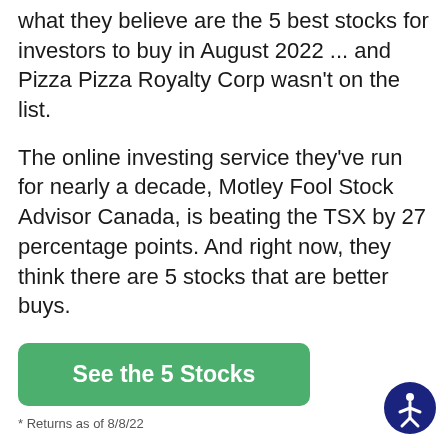what they believe are the 5 best stocks for investors to buy in August 2022 ... and Pizza Pizza Royalty Corp wasn't on the list.
The online investing service they've run for nearly a decade, Motley Fool Stock Advisor Canada, is beating the TSX by 27 percentage points. And right now, they think there are 5 stocks that are better buys.
[Figure (other): Green button reading 'See the 5 Stocks']
* Returns as of 8/8/22
This article represents the opinion of the writer, who may disagree with the "official"